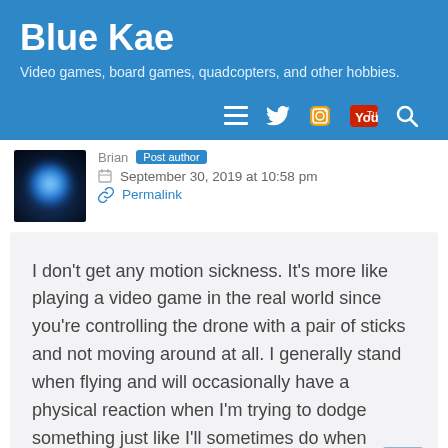Blue Kae
Video games, board games, quadcopters, and other hobbies.
Brian Post author
September 30, 2019 at 10:58 pm
Permalink
I don't get any motion sickness. It's more like playing a video game in the real world since you're controlling the drone with a pair of sticks and not moving around at all. I generally stand when flying and will occasionally have a physical reaction when I'm trying to dodge something just like I'll sometimes do when playing a shooter on the PC or Xbox.